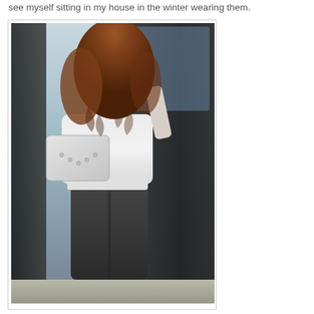see myself sitting in my house in the winter wearing them.
[Figure (photo): A woman with long curly auburn hair, seen from behind, wearing a white top and dark gray leggings, carrying a white handbag, standing next to a black SUV with the door open.]